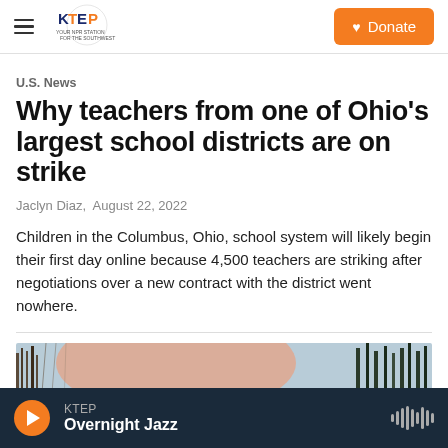[Figure (logo): KTEP radio station logo with text YOUR NPR STATION FOR THE SOUTHWEST]
U.S. News
Why teachers from one of Ohio's largest school districts are on strike
Jaclyn Diaz,  August 22, 2022
Children in the Columbus, Ohio, school system will likely begin their first day online because 4,500 teachers are striking after negotiations over a new contract with the district went nowhere.
[Figure (photo): Partial view of a photo showing trees and sky with orange/pink tones]
KTEP Overnight Jazz